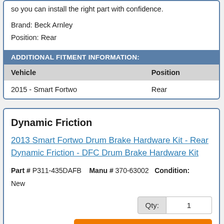so you can install the right part with confidence.
Brand: Beck Arnley
Position: Rear
ADDITIONAL FITMENT INFORMATION:
| Vehicle | Position |
| --- | --- |
| 2015 - Smart Fortwo | Rear |
Dynamic Friction
2013 Smart Fortwo Drum Brake Hardware Kit - Rear Dynamic Friction - DFC Drum Brake Hardware Kit
Part # P311-435DAFB   Manu # 370-63002   Condition: New
Qty: 1
ADD TO CART